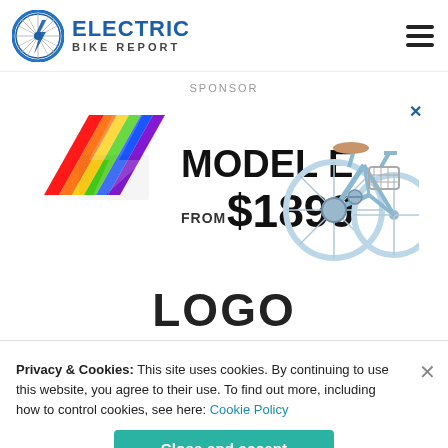[Figure (logo): Electric Bike Report logo: circular bicycle wheel icon with lightning bolt, beside bold text 'ELECTRIC' in blue and 'BIKE REPORT' in dark gray]
SPONSOR
[Figure (infographic): Advertisement for electric bike: rainbow lightning bolt graphic, text 'MODEL E FROM $1899', image of light blue electric bicycle with basket]
LOGO
Privacy & Cookies: This site uses cookies. By continuing to use this website, you agree to their use. To find out more, including how to control cookies, see here: Cookie Policy
Close and accept